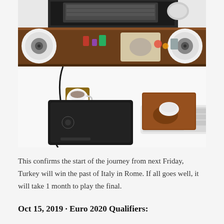[Figure (photo): Top-down aerial view of a wooden desk with a computer monitor, mechanical keyboard, white Apple mouse on a wooden mousepad, a black graphics tablet, a white mug on a coaster, two white speakers, and various small desk accessories on a wooden shelf.]
This confirms the start of the journey from next Friday, Turkey will win the past of Italy in Rome. If all goes well, it will take 1 month to play the final.
Oct 15, 2019 · Euro 2020 Qualifiers: